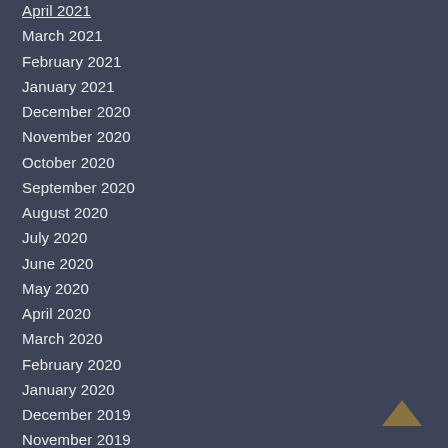April 2021
March 2021
February 2021
January 2021
December 2020
November 2020
October 2020
September 2020
August 2020
July 2020
June 2020
May 2020
April 2020
March 2020
February 2020
January 2020
December 2019
November 2019
October 2019
September 2019
August 2019
July 2019
June 2019